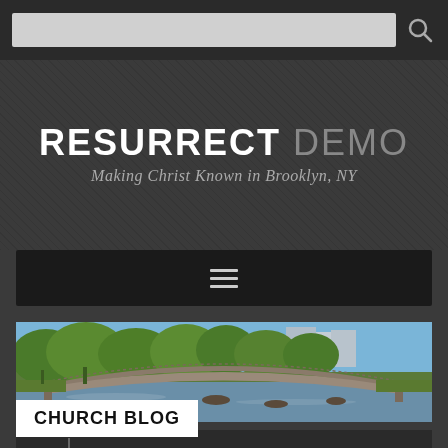Search bar area
RESURRECT DEMO
Making Christ Known in Brooklyn, NY
[Figure (other): Hamburger menu navigation bar on dark background]
[Figure (photo): Photo of a park with a stone arch bridge over water, green trees, and a blue sky. Label overlay reads CHURCH BLOG.]
CHURCH BLOG